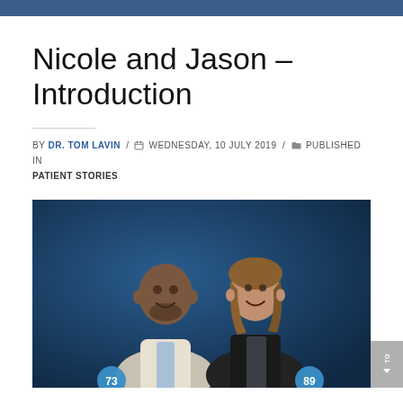Nicole and Jason – Introduction
BY DR. TOM LAVIN / WEDNESDAY, 10 JULY 2019 / PUBLISHED IN PATIENT STORIES
[Figure (photo): A man in a white blazer and a woman in a black jacket posed together against a dark blue background. Two partially visible score badges at the bottom showing numbers 73 and 89.]